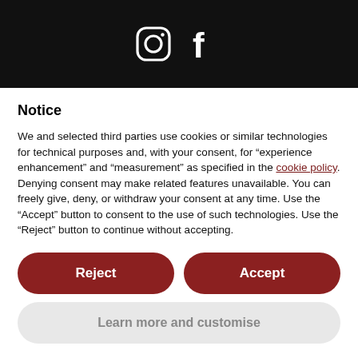[Figure (logo): Black header bar with Instagram and Facebook icons in white]
Notice
We and selected third parties use cookies or similar technologies for technical purposes and, with your consent, for “experience enhancement” and “measurement” as specified in the cookie policy. Denying consent may make related features unavailable. You can freely give, deny, or withdraw your consent at any time. Use the “Accept” button to consent to the use of such technologies. Use the “Reject” button to continue without accepting.
Reject
Accept
Learn more and customise